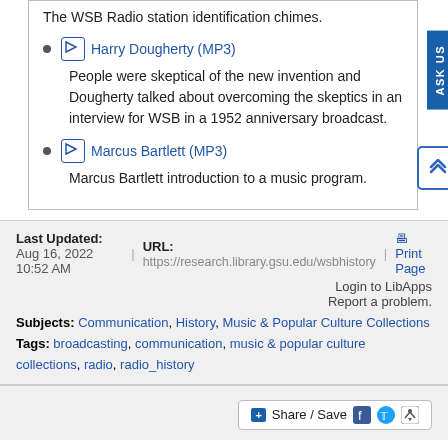The WSB Radio station identification chimes.
Harry Dougherty (MP3)
People were skeptical of the new invention and Dougherty talked about overcoming the skeptics in an interview for WSB in a 1952 anniversary broadcast.
Marcus Bartlett (MP3)
Marcus Bartlett introduction to a music program.
Last Updated: Aug 16, 2022 10:52 AM | URL: https://research.library.gsu.edu/wsbhistory | Print Page
Login to LibApps
Report a problem.
Subjects: Communication, History, Music & Popular Culture Collections
Tags: broadcasting, communication, music & popular culture collections, radio, radio_history
Share / Save